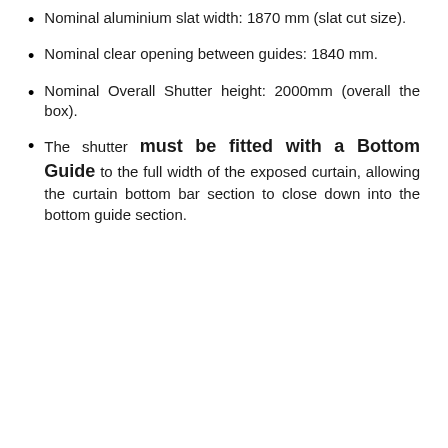Nominal aluminium slat width: 1870 mm (slat cut size).
Nominal clear opening between guides: 1840 mm.
Nominal Overall Shutter height: 2000mm (overall the box).
The shutter must be fitted with a Bottom Guide to the full width of the exposed curtain, allowing the curtain bottom bar section to close down into the bottom guide section.